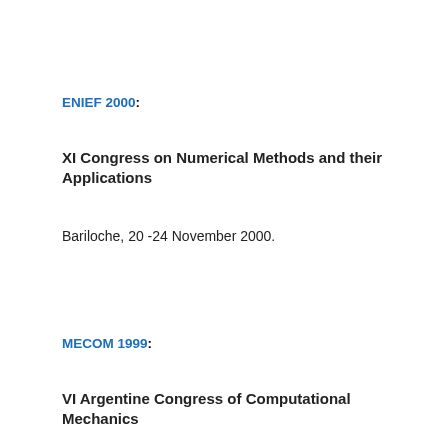ENIEF 2000:
XI Congress on Numerical Methods and their Applications
Bariloche, 20 -24 November 2000.
MECOM 1999:
VI Argentine Congress of Computational Mechanics
Mendoza, 6-10 September 1999.